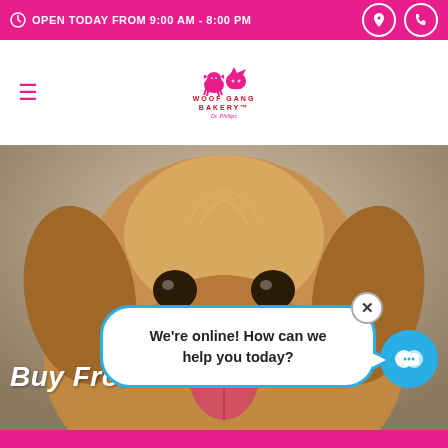OPEN TODAY FROM 9:00 AM - 8:00 PM
[Figure (logo): Woof Gang Bakery Dr. Phillips logo with dog and cat silhouettes]
[Figure (photo): Close-up photo of a golden retriever dog looking at camera]
Buy Fromm
We're online! How can we help you today?